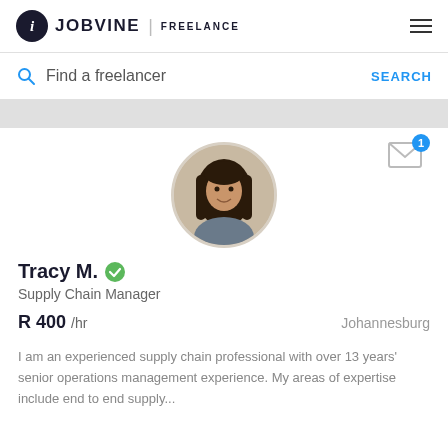JOBVINE | FREELANCE
Find a freelancer   SEARCH
[Figure (photo): Profile photo of Tracy M., a woman with long dark hair, smiling, circular crop]
Tracy M. ✅
Supply Chain Manager
R 400 /hr   Johannesburg
I am an experienced supply chain professional with over 13 years' senior operations management experience. My areas of expertise include end to end supply...